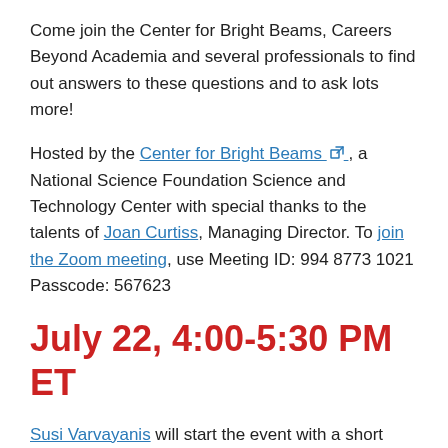Come join the Center for Bright Beams, Careers Beyond Academia and several professionals to find out answers to these questions and to ask lots more!
Hosted by the Center for Bright Beams, a National Science Foundation Science and Technology Center with special thanks to the talents of Joan Curtiss, Managing Director. To join the Zoom meeting, use Meeting ID: 994 8773 1021
Passcode: 567623
July 22, 4:00-5:30 PM ET
Susi Varvayanis will start the event with a short presentation and interactive skill building session for participants. She currently serves the Cornell University